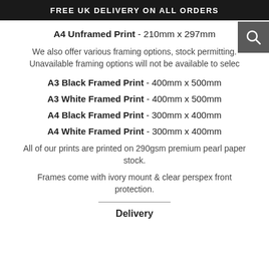FREE UK DELIVERY ON ALL ORDERS
A4 Unframed Print - 210mm x 297mm
We also offer various framing options, stock permitting. Unavailable framing options will not be available to selec
A3 Black Framed Print - 400mm x 500mm
A3 White Framed Print - 400mm x 500mm
A4 Black Framed Print - 300mm x 400mm
A4 White Framed Print - 300mm x 400mm
All of our prints are printed on 290gsm premium pearl paper stock.
Frames come with ivory mount & clear perspex front protection.
Delivery